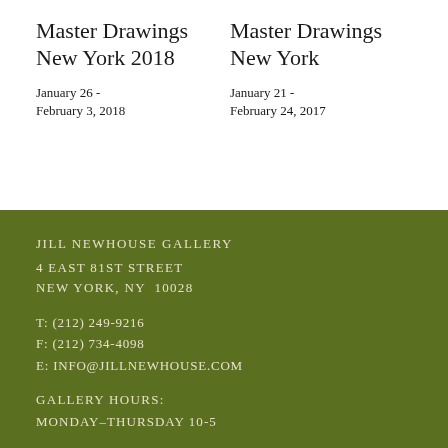Master Drawings New York 2018
January 26 -
February 3, 2018
Master Drawings New York
January 21 -
February 24, 2017
JILL NEWHOUSE GALLERY
4 EAST 81ST STREET
NEW YORK, NY  10028
T: (212) 249-9216
F: (212) 734-4098
E: INFO@JILLNEWHOUSE.COM
GALLERY HOURS:
MONDAY–THURSDAY 10-5